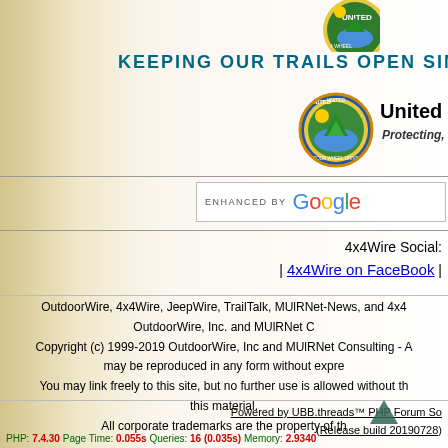[Figure (logo): Partial circular organization logo at top right of banner]
KEEPING OUR TRAILS OPEN SINCE
[Figure (logo): United Four Wheel Drive Associations circular logo with tree and landscape]
United Four Wheel Drive
Protecting, Promoting and Providing 4x4
[Figure (screenshot): ENHANCED BY Google search bar]
4x4Wire Social:
| 4x4Wire on FaceBook |
OutdoorWire, 4x4Wire, JeepWire, TrailTalk, MUlRNet-News, and 4x4
OutdoorWire, Inc. and MUlRNet C
Copyright (c) 1999-2019 OutdoorWire, Inc and MUlRNet Consulting - A
may be reproduced in any form without expre
You may link freely to this site, but no further use is allowed without th
this material.
All corporate trademarks are the property of th
Powered by UBB.threads™ PHP Forum So
(Release build 20190728)
PHP: 7.4.30 Page Time: 0.055s Queries: 16 (0.035s) Memory: 2.9340